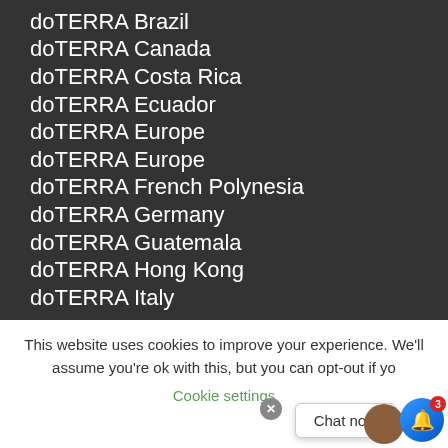doTERRA Brazil
doTERRA Canada
doTERRA Costa Rica
doTERRA Ecuador
doTERRA Europe
doTERRA Europe
doTERRA French Polynesia
doTERRA Germany
doTERRA Guatemala
doTERRA Hong Kong
doTERRA Italy
This website uses cookies to improve your experience. We'll assume you're ok with this, but you can opt-out if you wish.
Cookie settings
Chat now